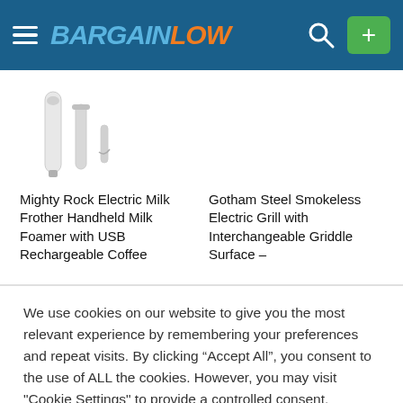[Figure (logo): BargainLow website header with hamburger menu, logo, search icon, and green plus button]
[Figure (photo): Mighty Rock Electric Milk Frother handheld product image showing white frother device with attachments]
Mighty Rock Electric Milk Frother Handheld Milk Foamer with USB Rechargeable Coffee
Gotham Steel Smokeless Electric Grill with Interchangeable Griddle Surface –
We use cookies on our website to give you the most relevant experience by remembering your preferences and repeat visits. By clicking "Accept All", you consent to the use of ALL the cookies. However, you may visit "Cookie Settings" to provide a controlled consent.
Cookie Settings
Accept All